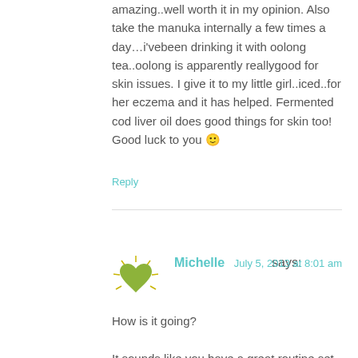amazing..well worth it in my opinion. Also take the manuka internally a few times a day…i'vebeen drinking it with oolong tea..oolong is apparently reallygood for skin issues. I give it to my little girl..iced..for her eczema and it has helped. Fermented cod liver oil does good things for skin too!
Good luck to you 🙂
Reply
Michelle says:
July 5, 2013 at 8:01 am
How is it going?
It sounds like you have a great routine set out for yourself and Krista's suggestions are great as well!
I also like to use gentle acupressure techniques for